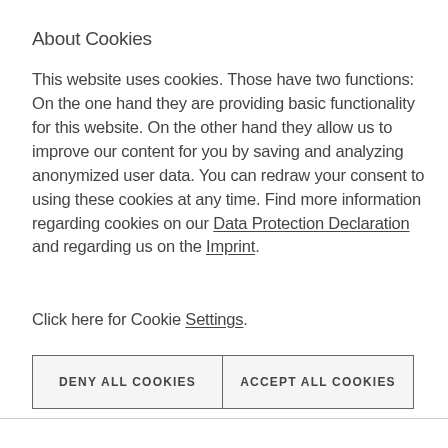About Cookies
This website uses cookies. Those have two functions: On the one hand they are providing basic functionality for this website. On the other hand they allow us to improve our content for you by saving and analyzing anonymized user data. You can redraw your consent to using these cookies at any time. Find more information regarding cookies on our Data Protection Declaration and regarding us on the Imprint.
Click here for Cookie Settings.
DENY ALL COOKIES   ACCEPT ALL COOKIES